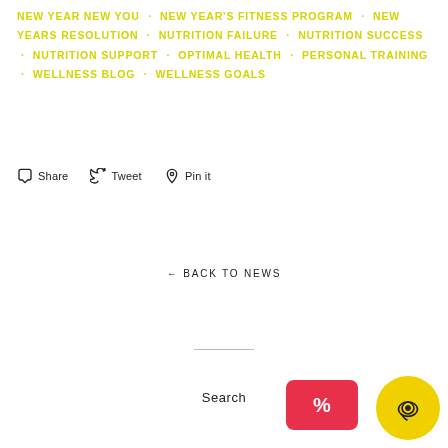NEW YEAR NEW YOU  ·  NEW YEAR'S FITNESS PROGRAM  ·  NEW YEARS RESOLUTION  ·  NUTRITION FAILURE  ·  NUTRITION SUCCESS  ·  NUTRITION SUPPORT  ·  OPTIMAL HEALTH  ·  PERSONAL TRAINING  ·  WELLNESS BLOG  ·  WELLNESS GOALS
Share  Tweet  Pin it
← BACK TO NEWS
Search